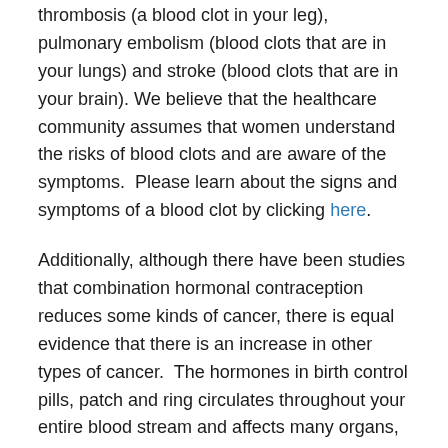thrombosis (a blood clot in your leg), pulmonary embolism (blood clots that are in your lungs) and stroke (blood clots that are in your brain). We believe that the healthcare community assumes that women understand the risks of blood clots and are aware of the symptoms.  Please learn about the signs and symptoms of a blood clot by clicking here.
Additionally, although there have been studies that combination hormonal contraception reduces some kinds of cancer, there is equal evidence that there is an increase in other types of cancer.  The hormones in birth control pills, patch and ring circulates throughout your entire blood stream and affects many organs, both positively and negatively.
For information about how these hormones work in the